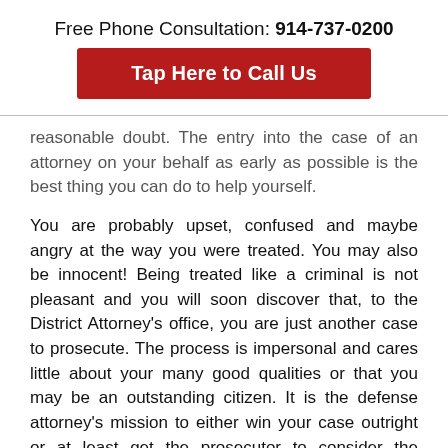Free Phone Consultation: 914-737-0200
[Figure (other): Red button with white bold text: Tap Here to Call Us]
reasonable doubt. The entry into the case of an attorney on your behalf as early as possible is the best thing you can do to help yourself.
You are probably upset, confused and maybe angry at the way you were treated. You may also be innocent! Being treated like a criminal is not pleasant and you will soon discover that, to the District Attorney's office, you are just another case to prosecute. The process is impersonal and cares little about your many good qualities or that you may be an outstanding citizen. It is the defense attorney's mission to either win your case outright or at least get the prosecutor to consider the mitigating factors for your case. By such the...